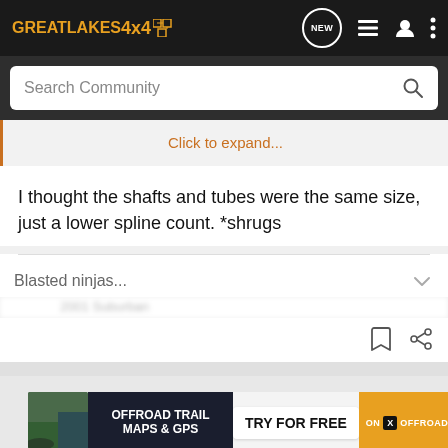GREATLAKES4X4 [logo] NEW [icons]
Search Community
Click to expand...
I thought the shafts and tubes were the same size, just a lower spline count. *shrugs
Blasted ninjas...
[Figure (screenshot): Ad banner for On X Offroad showing OFFROAD TRAIL MAPS & GPS with TRY FOR FREE button]